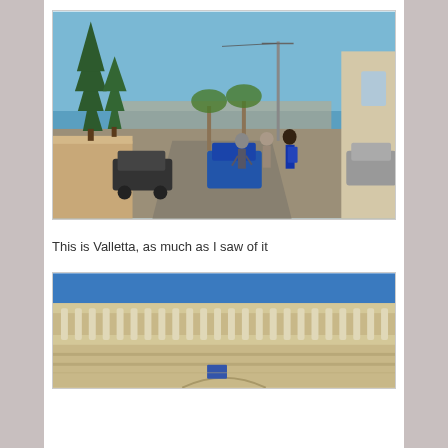[Figure (photo): Street scene in Valletta, Malta. People walking up a hill with palm trees and tall conifer trees visible. City skyline and sea visible in the background. Cars parked on the side of the road.]
This is Valletta, as much as I saw of it
[Figure (photo): Architectural detail of a building in Valletta, Malta. Stone facade with ornate balustrade featuring white spindle-shaped balusters against a blue sky background. Lower portion shows decorative stonework and an arched doorway.]